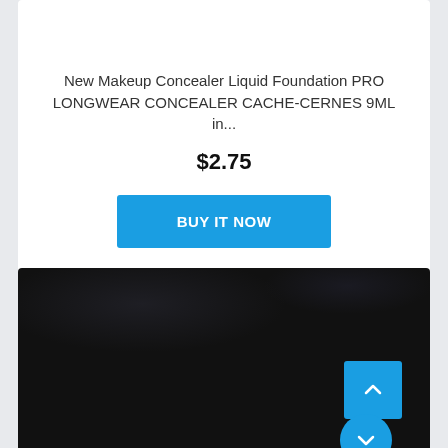New Makeup Concealer Liquid Foundation PRO LONGWEAR CONCEALER CACHE-CERNES 9ML in...
$2.75
BUY IT NOW
[Figure (photo): Dark/black background image, appears to be a product or scene photo with very low exposure. Contains a blue scroll-to-top button (square with upward chevron) in the lower right area, and a partially visible blue circle button at the very bottom right.]